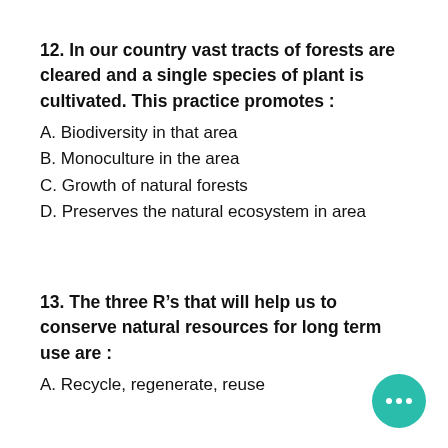12. In our country vast tracts of forests are cleared and a single species of plant is cultivated. This practice promotes :
A. Biodiversity in that area
B. Monoculture in the area
C. Growth of natural forests
D. Preserves the natural ecosystem in area
13. The three R’s that will help us to conserve natural resources for long term use are :
A. Recycle, regenerate, reuse